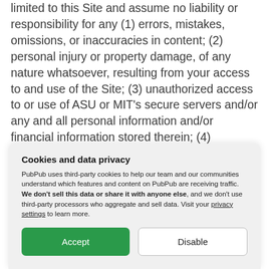limited to this Site and assume no liability or responsibility for any (1) errors, mistakes, omissions, or inaccuracies in content; (2) personal injury or property damage, of any nature whatsoever, resulting from your access to and use of the Site; (3) unauthorized access to or use of ASU or MIT's secure servers and/or any and all personal information and/or financial information stored therein; (4) interruption or cessation of transmission to or from the Site; (5) bugs, viruses, Trojan horses, or the like that may be transmitted
Cookies and data privacy
PubPub uses third-party cookies to help our team and our communities understand which features and content on PubPub are receiving traffic. We don't sell this data or share it with anyone else, and we don't use third-party processors who aggregate and sell data. Visit your privacy settings to learn more.